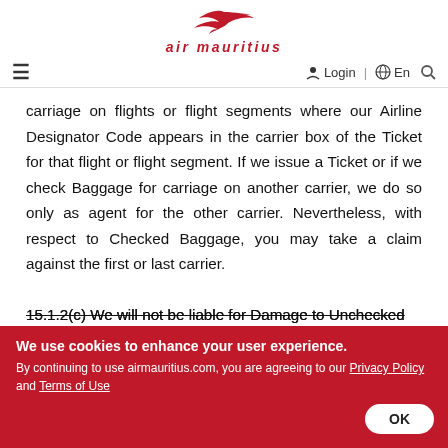[Figure (logo): Air Mauritius logo with red bird and stylized italic text]
≡   Login  🌐 | En  🔍
carriage on flights or flight segments where our Airline Designator Code appears in the carrier box of the Ticket for that flight or flight segment. If we issue a Ticket or if we check Baggage for carriage on another carrier, we do so only as agent for the other carrier. Nevertheless, with respect to Checked Baggage, you may take a claim against the first or last carrier.
15.1.2(c) We will not be liable for Damage to Unchecked
We use cookies to enhance your user experience. By continuing to use airmauritius.com, you are agreeing to our Privacy Policy and Terms of Use